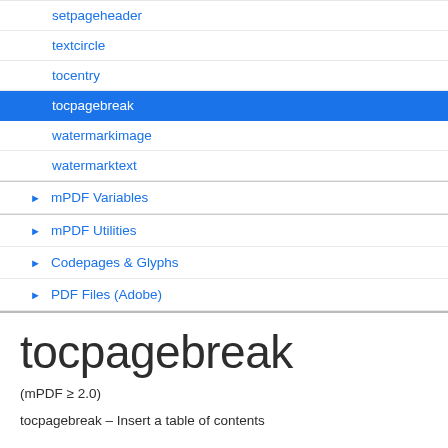setpageheader
textcircle
tocentry
tocpagebreak
watermarkimage
watermarktext
mPDF Variables
mPDF Utilities
Codepages & Glyphs
PDF Files (Adobe)
tocpagebreak
(mPDF ≥ 2.0)
tocpagebreak – Insert a table of contents
Description